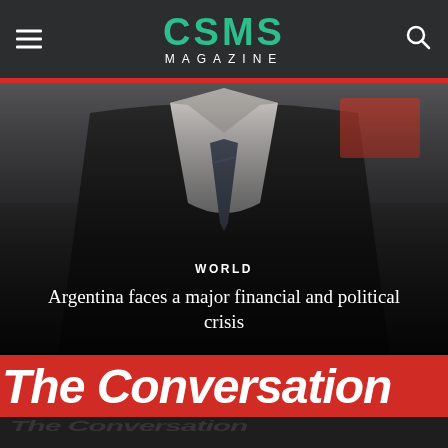CSMS MAGAZINE
[Figure (photo): Partial view of a person in a suit and tie, used as background for article headline about Argentina]
WORLD
Argentina faces a major financial and political crisis
[Figure (logo): The Conversation logo banner in red with white bold italic text]
[Figure (photo): Three video call thumbnail images side by side showing two people in separate frames with a bookcase visible in the right frame]